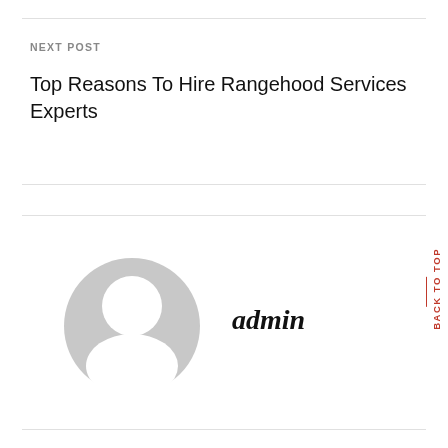NEXT POST
Top Reasons To Hire Rangehood Services Experts
[Figure (illustration): Generic user avatar icon — grey circle silhouette with head and shoulders shape on white background]
admin
BACK TO TOP